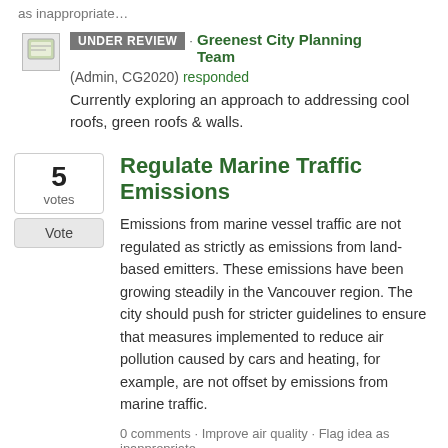as inappropriate…
UNDER REVIEW · Greenest City Planning Team (Admin, CG2020) responded
Currently exploring an approach to addressing cool roofs, green roofs & walls.
Regulate Marine Traffic Emissions
Emissions from marine vessel traffic are not regulated as strictly as emissions from land-based emitters. These emissions have been growing steadily in the Vancouver region. The city should push for stricter guidelines to ensure that measures implemented to reduce air pollution caused by cars and heating, for example, are not offset by emissions from marine traffic.
0 comments · Improve air quality · Flag idea as inappropriate…